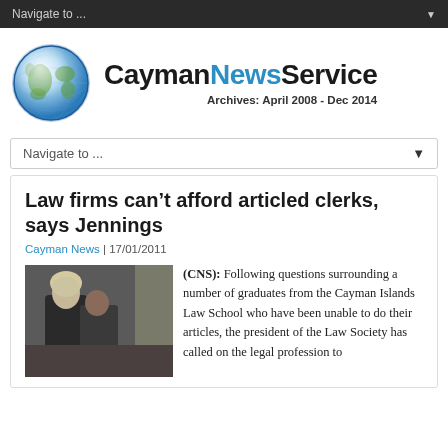Navigate to ...
[Figure (logo): Cayman News Service logo with globe icon. Text: CaymanNewsService Archives: April 2008 - Dec 2014]
Navigate to ...
Law firms can't afford articled clerks, says Jennings
Cayman News | 17/01/2011
[Figure (photo): Two people in dark formal/legal attire seen from behind, one appearing to wear a barrister's wig]
(CNS): Following questions surrounding a number of graduates from the Cayman Islands Law School who have been unable to do their articles, the president of the Law Society has called on the legal profession to